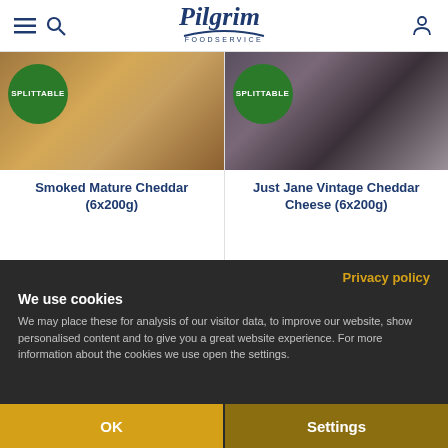Pilgrim Foodservice
[Figure (photo): Photo of Smoked Mature Cheddar cheese with green SPLITTABLE badge]
Smoked Mature Cheddar (6x200g)
[Figure (photo): Photo of Just Jane Vintage Cheddar Cheese with green SPLITTABLE badge]
Just Jane Vintage Cheddar Cheese (6x200g)
Privacy policy
We use cookies
We may place these for analysis of our visitor data, to improve our website, show personalised content and to give you a great website experience. For more information about the cookies we use open the settings.